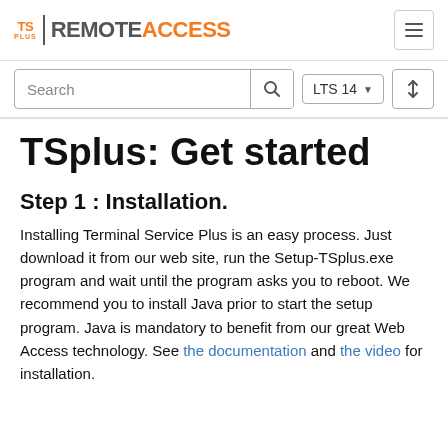TS PLUS | REMOTE ACCESS
TSplus: Get started
Step 1 : Installation.
Installing Terminal Service Plus is an easy process. Just download it from our web site, run the Setup-TSplus.exe program and wait until the program asks you to reboot. We recommend you to install Java prior to start the setup program. Java is mandatory to benefit from our great Web Access technology. See the documentation and the video for installation.